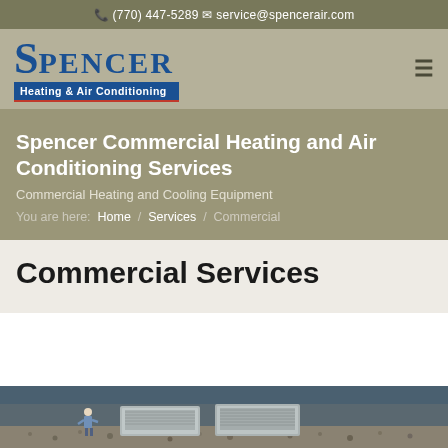(770) 447-5289   service@spencerair.com
[Figure (logo): Spencer Heating & Air Conditioning logo with large blue S, blue text PENCER, and blue background bar reading Heating & Air Conditioning]
Spencer Commercial Heating and Air Conditioning Services
Commercial Heating and Cooling Equipment
You are here:  Home / Services / Commercial
Commercial Services
[Figure (photo): Rooftop commercial HVAC units with a technician working on equipment, gravel rooftop]